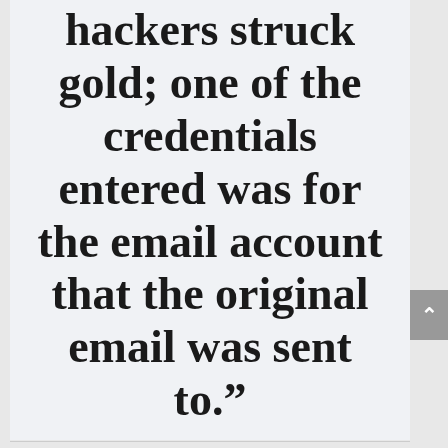hackers struck gold; one of the credentials entered was for the email account that the original email was sent to.”